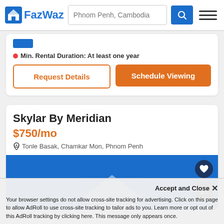FazWaz — Phnom Penh, Cambodia
Min. Rental Duration: At least one year
Request Details
Schedule Viewing
Skylar By Meridian
$750/mo
Tonle Basak, Chamkar Mon, Phnom Penh
[Figure (screenshot): Blue property image area with white house illustration and action buttons (heart and swap)]
Accept and Close ✕
Your browser settings do not allow cross-site tracking for advertising. Click on this page to allow AdRoll to use cross-site tracking to tailor ads to you. Learn more or opt out of this AdRoll tracking by clicking here. This message only appears once.